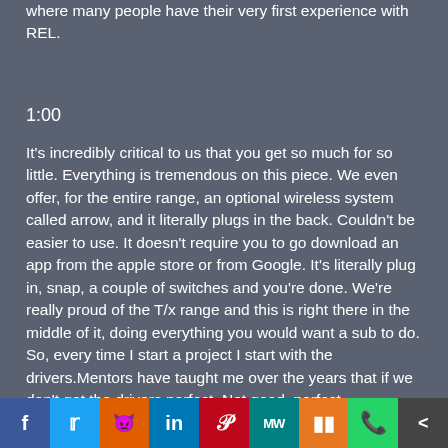where many people have their very first experience with REL.
1:00
It's incredibly critical to us that you get so much for so little. Everything is tremendous on this piece. We even offer, for the entire range, an optional wireless system called arrow, and it literally plugs in the back. Couldn't be easier to use. It doesn't require you to go download an app from the apple store or from Google. It's literally plug in, snap, a couple of switches and you're done. We're really proud of the T/x range and this is right there in the middle of it, doing everything you would want a sub to do. So, every time I start a project I start with the drivers.Mentors have taught me over the years that if we don't get the drivers perfect. Not good, perfect.
f | Twitter | Reddit | in | Pinterest | MW | Mix | WhatsApp | Share